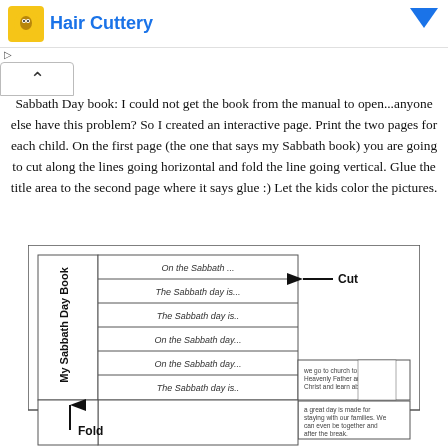Hair Cuttery
Sabbath Day book: I could not get the book from the manual to open...anyone else have this problem?  So I created an interactive page.  Print the two pages for each child.  On the first page (the one that says my Sabbath book) you are going to cut along the lines going horizontal and fold the line going vertical.  Glue the title area to the second page where it says glue :)  Let the kids color the pictures.
[Figure (illustration): Diagram of a My Sabbath Day Book craft with pages labeled 'On the Sabbath...', 'The Sabbath day is...', 'The Sabbath day is..', 'On the Sabbath day...', 'On the Sabbath day...', 'The Sabbath day is..', with Cut and Fold instructions shown with arrows.]